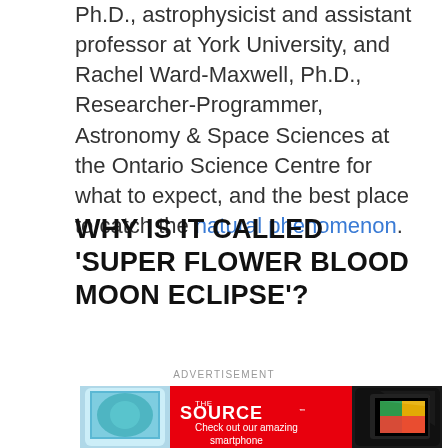Ph.D., astrophysicist and assistant professor at York University, and Rachel Ward-Maxwell, Ph.D., Researcher-Programmer, Astronomy & Space Sciences at the Ontario Science Centre for what to expect, and the best place to catch the natural phenomenon.
WHY IS IT CALLED 'SUPER FLOWER BLOOD MOON ECLIPSE'?
ADVERTISEMENT
[Figure (other): Advertisement banner for The Source showing smartphones on a red background with text 'Check out our amazing smartphone']